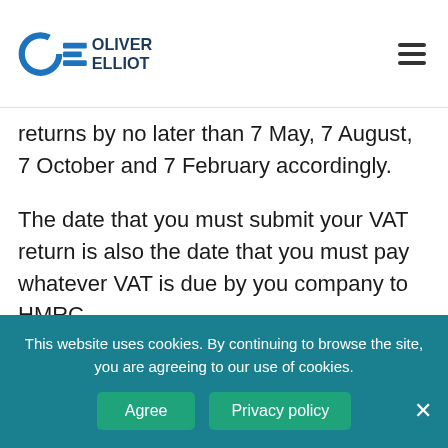Oliver Elliot
returns by no later than 7 May, 7 August, 7 October and 7 February accordingly.
The date that you must submit your VAT return is also the date that you must pay whatever VAT is due by you company to HMRC.
Annual Accounting For VAT
From 1 April 2019, most businesses will
This website uses cookies. By continuing to browse the site, you are agreeing to our use of cookies.